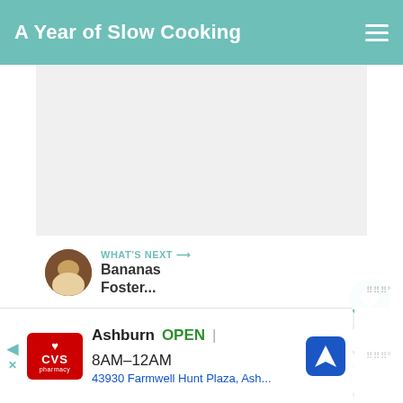A Year of Slow Cooking
[Figure (photo): Large blank/white image area placeholder in the main content region]
1
WHAT'S NEXT → Bananas Foster...
Ashburn OPEN | 8AM–12AM 43930 Farmwell Hunt Plaza, Ash...